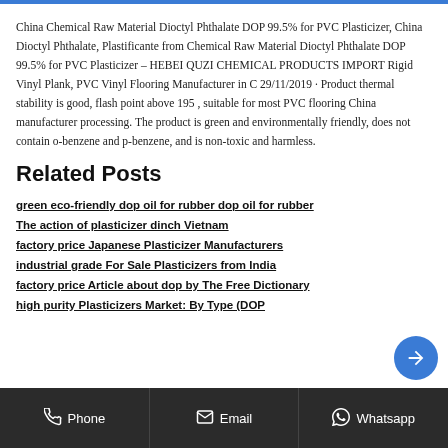China Chemical Raw Material Dioctyl Phthalate DOP 99.5% for PVC Plasticizer, China Dioctyl Phthalate, Plastificante from Chemical Raw Material Dioctyl Phthalate DOP 99.5% for PVC Plasticizer – HEBEI QUZI CHEMICAL PRODUCTS IMPORT Rigid Vinyl Plank, PVC Vinyl Flooring Manufacturer in C 29/11/2019 · Product thermal stability is good, flash point above 195 , suitable for most PVC flooring China manufacturer processing. The product is green and environmentally friendly, does not contain o-benzene and p-benzene, and is non-toxic and harmless.
Related Posts
green eco-friendly dop oil for rubber dop oil for rubber
The action of plasticizer dinch Vietnam
factory price Japanese Plasticizer Manufacturers
industrial grade For Sale Plasticizers from India
factory price Article about dop by The Free Dictionary
high purity Plasticizers Market: By Type (DOP
Phone   Email   Whatsapp